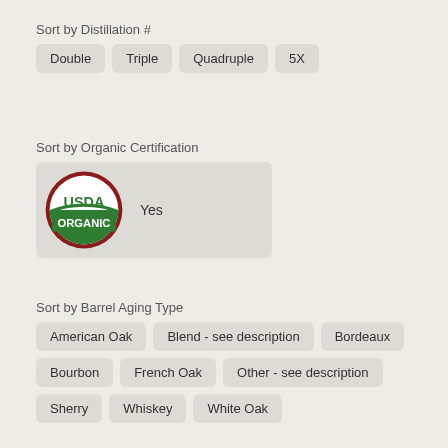Sort by Distillation #
Double
Triple
Quadruple
5X
Sort by Organic Certification
[Figure (logo): USDA Organic certification logo — dark red circle border, green background on lower half with white text 'USDA' in top and 'ORGANIC' in banner, accompanied by text 'Yes']
Sort by Barrel Aging Type
American Oak
Blend - see description
Bordeaux
Bourbon
French Oak
Other - see description
Sherry
Whiskey
White Oak